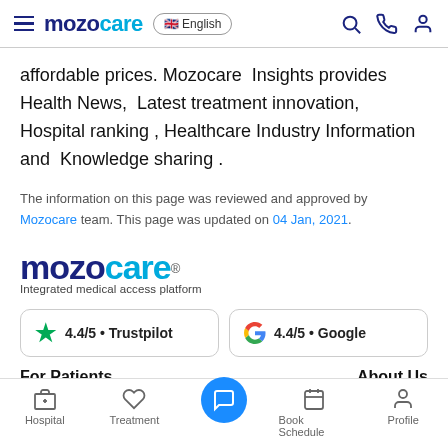mozocare — English — navigation header
affordable prices. Mozocare Insights provides Health News, Latest treatment innovation, Hospital ranking , Healthcare Industry Information and Knowledge sharing .
The information on this page was reviewed and approved by Mozocare team. This page was updated on 04 Jan, 2021.
[Figure (logo): Mozocare logo with tagline 'Integrated medical access platform']
4.4/5 • Trustpilot | 4.4/5 • Google
For Patients    About Us
Hospital | Treatment | (chat) | Book Schedule | Profile